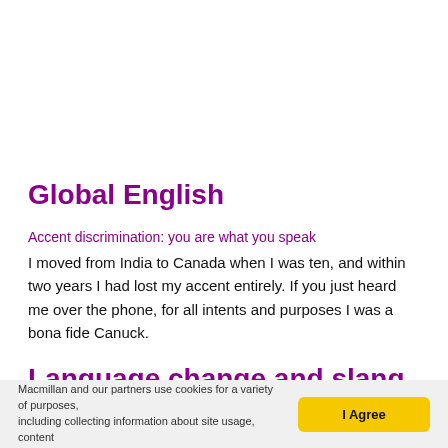Global English
Accent discrimination: you are what you speak
I moved from India to Canada when I was ten, and within two years I had lost my accent entirely. If you just heard me over the phone, for all intents and purposes I was a bona fide Canuck.
Language change and slang
Macmillan and our partners use cookies for a variety of purposes, including collecting information about site usage, content
I Agree